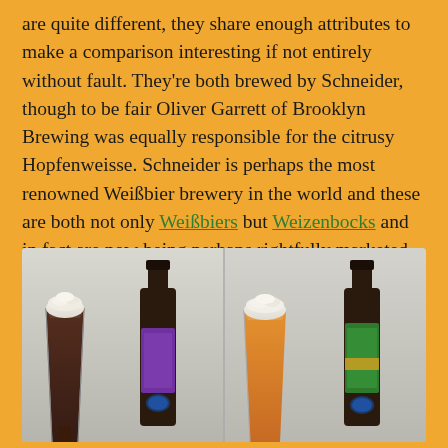are quite different, they share enough attributes to make a comparison interesting if not entirely without fault. They're both brewed by Schneider, though to be fair Oliver Garrett of Brooklyn Brewing was equally responsible for the citrusy Hopfenweisse. Schneider is perhaps the most renowned Weißbier brewery in the world and these are both not only Weißbiers but Weizenbocks and in fact are now being perhaps rightfully marketed as Dopplebocks since they both clock in at 8.2%!
[Figure (photo): Two side-by-side photos of Schneider beer offerings. Left photo shows a dark weizenbock beer poured in a tall weizen glass with white foam head next to a dark bottle with purple label. Right photo shows an amber/golden hopfenweisse beer in a tall weizen glass with white foam next to a bottle with green label.]